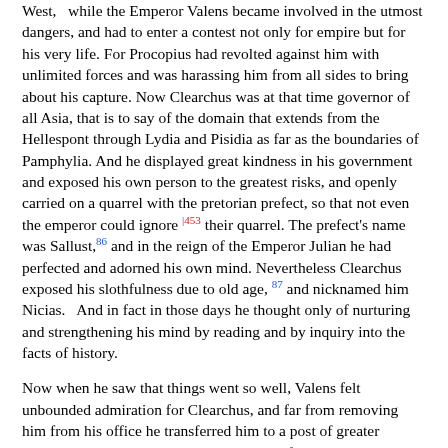West,  while the Emperor Valens became involved in the utmost dangers, and had to enter a contest not only for empire but for his very life. For Procopius had revolted against him with unlimited forces and was harassing him from all sides to bring about his capture. Now Clearchus was at that time governor of all Asia, that is to say of the domain that extends from the Hellespont through Lydia and Pisidia as far as the boundaries of Pamphylia. And he displayed great kindness in his government and exposed his own person to the greatest risks, and openly carried on a quarrel with the pretorian prefect, so that not even the emperor could ignore [453] their quarrel. The prefect's name was Sallust, [86] and in the reign of the Emperor Julian he had perfected and adorned his own mind. Nevertheless Clearchus exposed his slothfulness due to old age, [87] and nicknamed him Nicias.  And in fact in those days he thought only of nurturing and strengthening his mind by reading and by inquiry into the facts of history.
Now when he saw that things went so well, Valens felt unbounded admiration for Clearchus, and far from removing him from his office he transferred him to a post of greater importance and appointed him proconsul of all that is to-day properly called Asia. This province embraces the sea coast from Pergamon and includes the hinterland of that coast as far as Caria, while Mount Tmolos circumscribes its limits in the direction of Lydia. It is the most illustrious of all the provinces and is outside the jurisdiction of the